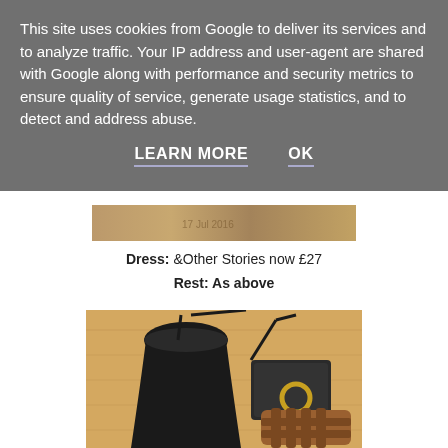This site uses cookies from Google to deliver its services and to analyze traffic. Your IP address and user-agent are shared with Google along with performance and security metrics to ensure quality of service, generate usage statistics, and to detect and address abuse.
LEARN MORE   OK
[Figure (photo): Partial fashion photo visible behind cookie consent banner - wooden surface with fabric item]
Dress: &Other Stories now £27
Rest: As above
[Figure (photo): Fashion flatlay on wooden floor: black off-shoulder dress, small black leather crossbody bag with gold ring/bracelet, brown leather strappy sandals]